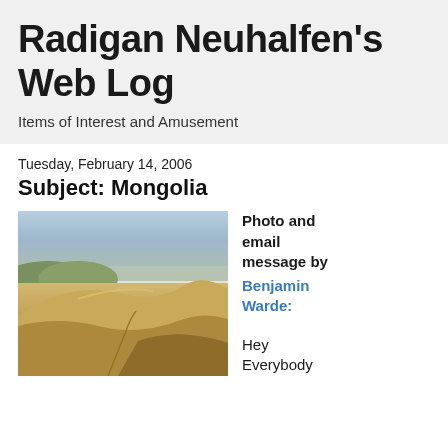Radigan Neuhalfen's Web Log
Items of Interest and Amusement
Tuesday, February 14, 2006
Subject: Mongolia
[Figure (photo): Landscape photo of desert sand dunes in Mongolia, showing sandy dunes under a hazy sky with sparse green vegetation visible on the left.]
Photo and email message by Benjamin Warde:
Hey Everybody